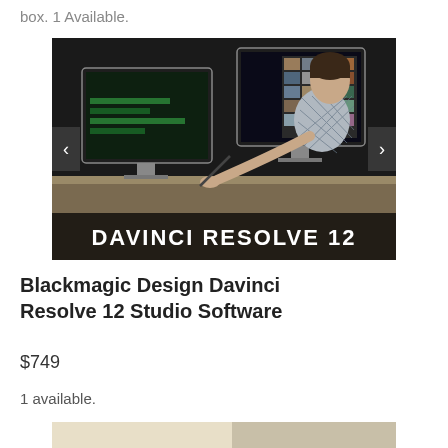box. 1 Available.
[Figure (photo): Product photo of Blackmagic Design DaVinci Resolve 12 Studio Software box showing a person working at a Mac editing station with the text DAVINCI RESOLVE 12 prominently displayed at the bottom of the box art.]
Blackmagic Design Davinci Resolve 12 Studio Software
$749
1 available.
[Figure (photo): Partial view of another product image at the bottom of the page, showing a light-colored background.]